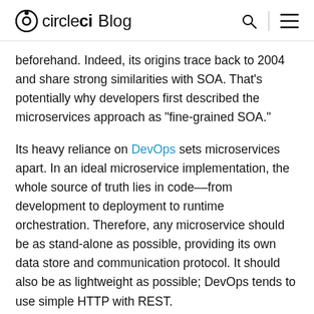circleci Blog
beforehand. Indeed, its origins trace back to 2004 and share strong similarities with SOA. That’s potentially why developers first described the microservices approach as “fine-grained SOA.”
Its heavy reliance on DevOps sets microservices apart. In an ideal microservice implementation, the whole source of truth lies in code–—from development to deployment to runtime orchestration. Therefore, any microservice should be as stand-alone as possible, providing its own data store and communication protocol. It should also be as lightweight as possible; DevOps tends to use simple HTTP with REST.
Although microservices aim to be lightweight, they are still